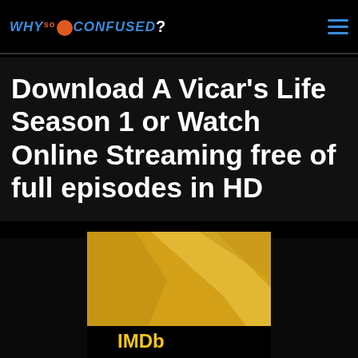WHY so CONFUSED?
Download A Vicar’s Life Season 1 or Watch Online Streaming free of full episodes in HD
[Figure (screenshot): Partial view of a yellow/gold graphic or logo at the bottom of the page, appears to be a TV show or streaming service logo]